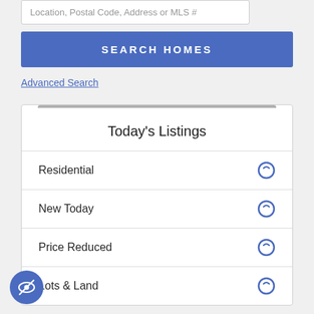Location, Postal Code, Address or MLS #
SEARCH HOMES
Advanced Search
Today's Listings
Residential
New Today
Price Reduced
Lots & Land